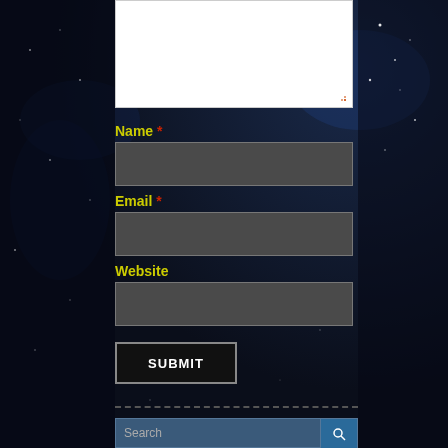[Figure (screenshot): A web comment form on a dark space/galaxy themed background. Contains a text area (partially visible at top, white), followed by Name, Email, and Website fields with dark grey input boxes, a Submit button, a dashed divider, and a Search bar at the bottom. Labels are in yellow/olive color with red asterisks for required fields.]
Name *
Email *
Website
SUBMIT
Search